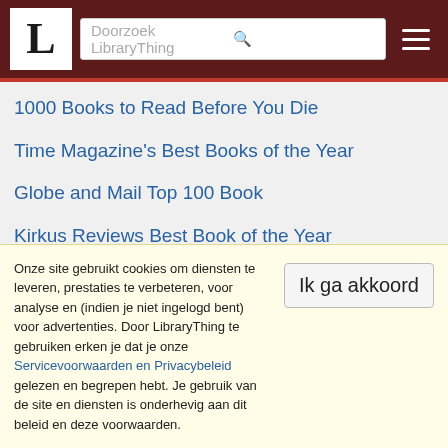LibraryThing — Doorzoek LibraryThing
1000 Books to Read Before You Die
Time Magazine's Best Books of the Year
Globe and Mail Top 100 Book
Kirkus Reviews Best Book of the Year
International IMPAC Dublin Literary Award Longlist
New York Times Best Books of the Year
100 Best Books of 2010-2015 by The Oyster Editors
Onze site gebruikt cookies om diensten te leveren, prestaties te verbeteren, voor analyse en (indien je niet ingelogd bent) voor advertenties. Door LibraryThing te gebruiken erken je dat je onze Servicevoorwaarden en Privacybeleid gelezen en begrepen hebt. Je gebruik van de site en diensten is onderhevig aan dit beleid en deze voorwaarden.